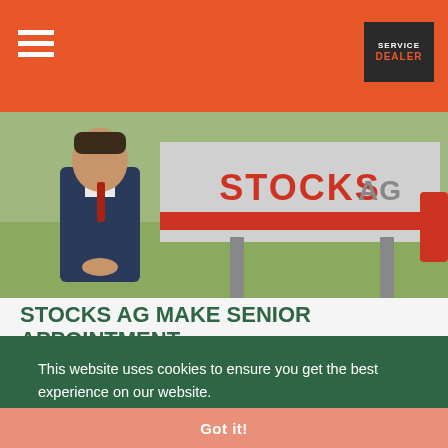Service Dealer — navigation header with hamburger menu and logo
[Figure (photo): Man in dark quilted vest and white shirt standing in front of a large Stocks AG signage board outdoors on grass]
STOCKS AG MAKE SENIOR APPOINTMENT
Newly created position
Promoting health and safety responsibility across manufacturing, production and stores, as well as for site and factory.
This website uses cookies to ensure you get the best experience on our website. Learn more
Got it!
Read More | No Comments